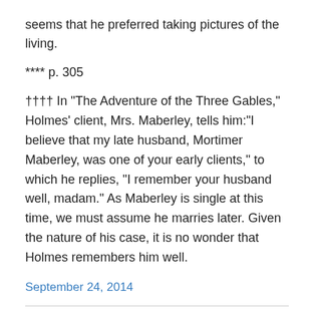seems that he preferred taking pictures of the living.
**** p. 305
†††† In "The Adventure of the Three Gables," Holmes' client, Mrs. Maberley, tells him:"I believe that my late husband, Mortimer Maberley, was one of your early clients," to which he replies, "I remember your husband well, madam." As Maberley is single at this time, we must assume he marries later. Given the nature of his case, it is no wonder that Holmes remembers him well.
September 24, 2014
Greenberg, Martin H., Jon Lellenberg, and Daniel